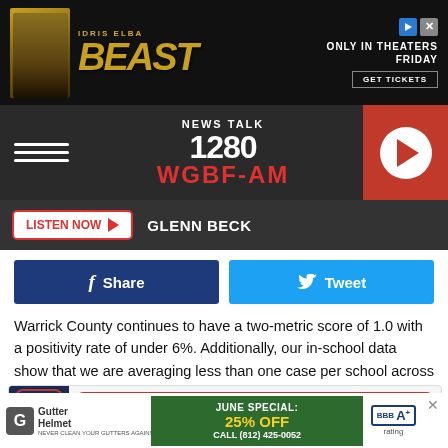[Figure (photo): Beast movie advertisement banner — Idris Elba, 'Only in Theaters Friday, Get Tickets']
[Figure (logo): News Talk 1280 WGBF-AM radio station header with hamburger menu and play button]
LISTEN NOW ▶  GLENN BECK
[Figure (infographic): Facebook Share button and Twitter Tweet button]
Warrick County continues to have a two-metric score of 1.0 with a positivity rate of under 6%. Additionally, our in-school data show that we are averaging less than one case per school across the entire corporation."
[Figure (infographic): GET OUR FREE MOBILE APP button with News Talk 1280 WGBF-AM app icon]
[Figure (infographic): Gutter Helmet June Special 25% OFF advertisement — Call (812) 425-0052, BBB A+ rating]